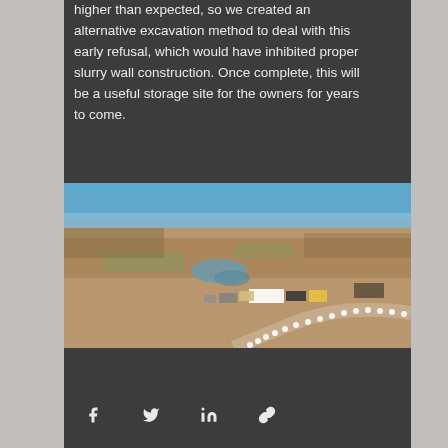higher than expected, so we created an alternative excavation method to deal with this early refusal, which would have inhibited proper slurry wall construction. Once complete, this will be a useful storage site for the owners for years to come.
[Figure (photo): Aerial photograph of a construction site on flat arid land with mountains in the background. A curved road/path with white markers is visible, along with construction equipment, trailers, and a small body of water.]